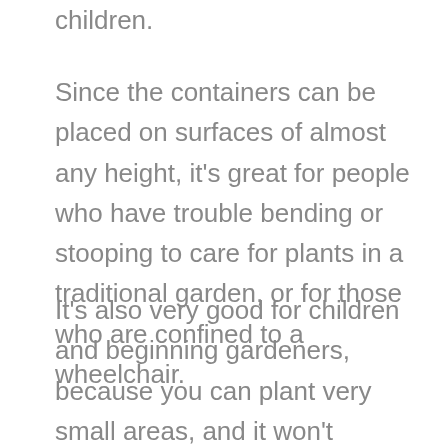children.
Since the containers can be placed on surfaces of almost any height, it's great for people who have trouble bending or stooping to care for plants in a traditional garden, or for those who are confined to a wheelchair.
It's also very good for children and beginning gardeners, because you can plant very small areas, and it won't require a lot of maintenance. Another great benefit of